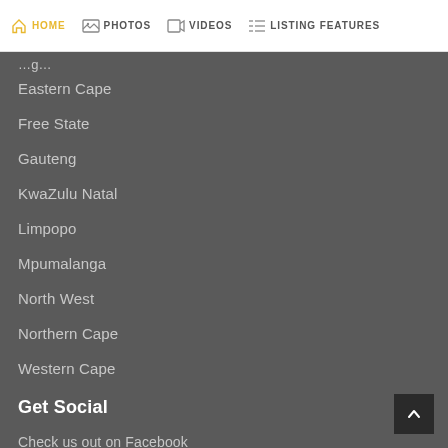HOME  PHOTOS  VIDEOS  LISTING FEATURES
...g...
Eastern Cape
Free State
Gauteng
KwaZulu Natal
Limpopo
Mpumalanga
North West
Northern Cape
Western Cape
Get Social
Check us out on Facebook
Add your Business to BOV via Whatsapp